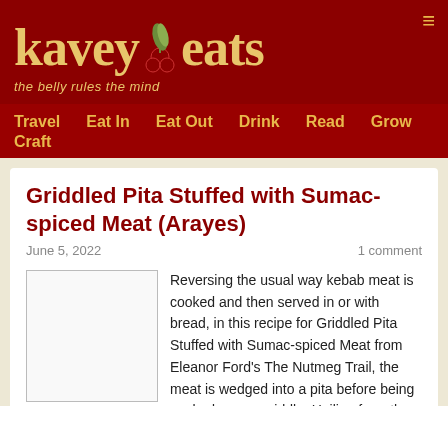kavey eats — the belly rules the mind
Travel  Eat In  Eat Out  Drink  Read  Grow  Craft
Griddled Pita Stuffed with Sumac-spiced Meat (Arayes)
June 5, 2022    1 comment
[Figure (photo): Photo placeholder for Griddled Pita Stuffed with Sumac-spiced Meat (Arayes)]
Reversing the usual way kebab meat is cooked and then served in or with bread, in this recipe for Griddled Pita Stuffed with Sumac-spiced Meat from Eleanor Ford's The Nutmeg Trail, the meat is wedged into a pita before being cooked over a griddle. Hailing from the Middle East and Levant the dish has many variations.